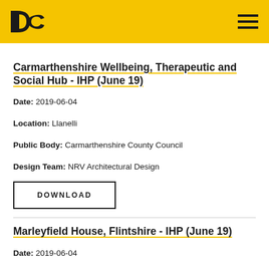DC [logo] [hamburger menu]
Carmarthenshire Wellbeing, Therapeutic and Social Hub - IHP (June 19)
Date: 2019-06-04
Location: Llanelli
Public Body: Carmarthenshire County Council
Design Team: NRV Architectural Design
DOWNLOAD
Marleyfield House, Flintshire - IHP (June 19)
Date: 2019-06-04
Location: Buckley
Public Body: Flintshire County Council
Design Team: Lovelock Mitchell Architects